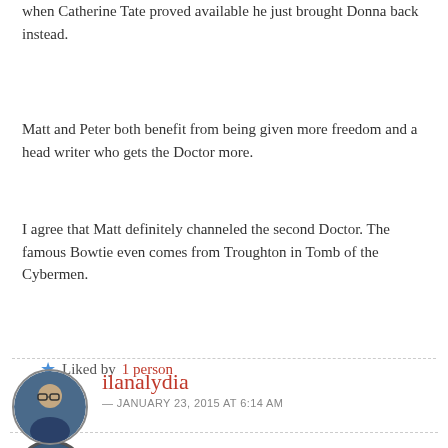when Catherine Tate proved available he just brought Donna back instead.
Matt and Peter both benefit from being given more freedom and a head writer who gets the Doctor more.
I agree that Matt definitely channeled the second Doctor. The famous Bowtie even comes from Troughton in Tomb of the Cybermen.
★ Liked by 1 person
Reply
ilanalydia
— JANUARY 23, 2015 AT 6:14 AM
Congratulations on meeting Tennant. In interviews, he always reads the way you describe. Smart, too.